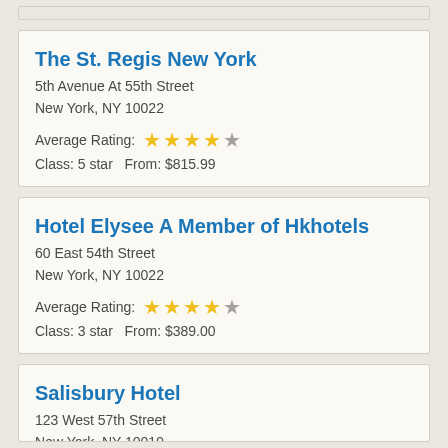The St. Regis New York
5th Avenue At 55th Street
New York, NY 10022
Average Rating: ★★★★☆
Class: 5 star   From: $815.99
Hotel Elysee A Member of Hkhotels
60 East 54th Street
New York, NY 10022
Average Rating: ★★★★☆
Class: 3 star   From: $389.00
Salisbury Hotel
123 West 57th Street
New York, NY 10019